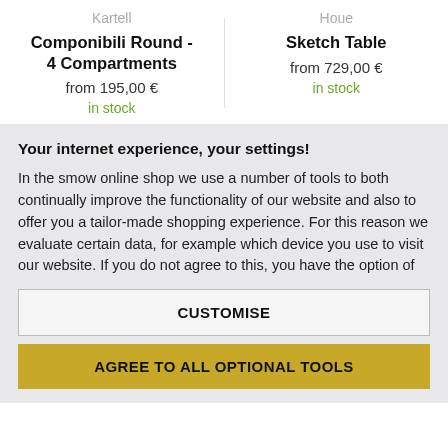Kartell
Componibili Round - 4 Compartments
from 195,00 €
in stock
Houe
Sketch Table
from 729,00 €
in stock
Your internet experience, your settings!
In the smow online shop we use a number of tools to both continually improve the functionality of our website and also to offer you a tailor-made shopping experience. For this reason we evaluate certain data, for example which device you use to visit our website. If you do not agree to this, you have the option of
CUSTOMISE
AGREE TO ALL OPTIONAL TOOLS